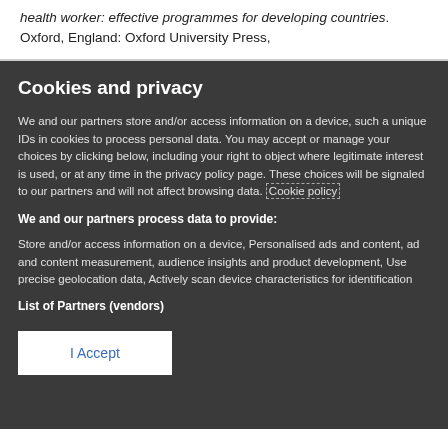health worker: effective programmes for developing countries. Oxford, England: Oxford University Press,
Cookies and privacy
We and our partners store and/or access information on a device, such as unique IDs in cookies to process personal data. You may accept or manage your choices by clicking below, including your right to object where legitimate interest is used, or at any time in the privacy policy page. These choices will be signaled to our partners and will not affect browsing data. Cookie policy
We and our partners process data to provide:
Store and/or access information on a device, Personalised ads and content, ad and content measurement, audience insights and product development, Use precise geolocation data, Actively scan device characteristics for identification
List of Partners (vendors)
I Accept